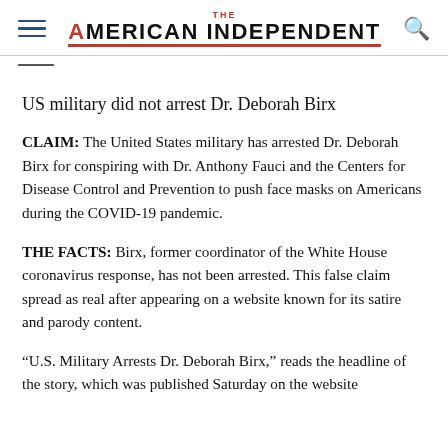THE AMERICAN INDEPENDENT
US military did not arrest Dr. Deborah Birx
CLAIM: The United States military has arrested Dr. Deborah Birx for conspiring with Dr. Anthony Fauci and the Centers for Disease Control and Prevention to push face masks on Americans during the COVID-19 pandemic.
THE FACTS: Birx, former coordinator of the White House coronavirus response, has not been arrested. This false claim spread as real after appearing on a website known for its satire and parody content.
“U.S. Military Arrests Dr. Deborah Birx,” reads the headline of the story, which was published Saturday on the website